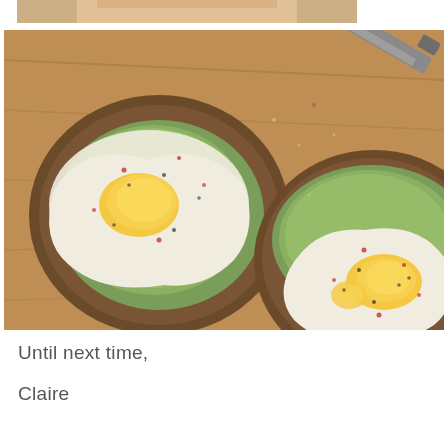[Figure (photo): Partial top view of a photo showing hands and bread/food item, cropped at top of page]
[Figure (photo): Overhead view of two slices of avocado toast topped with fried eggs on a wooden cutting board, with a knife visible in the upper right corner. The eggs are garnished with red pepper flakes and black pepper.]
Until next time,
Claire